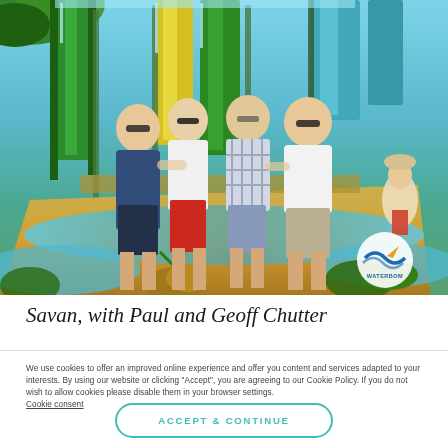[Figure (photo): Four men standing together at a waterpark (Waterbom), smiling at the camera. Colorful water slides in green and yellow are visible behind them. The men wear casual summer clothes. A Waterbom logo is visible in the bottom right corner of the photo.]
Savan, with Paul and Geoff Chutter
We use cookies to offer an improved online experience and offer you content and services adapted to your interests. By using our website or clicking "Accept", you are agreeing to our Cookie Policy. If you do not wish to allow cookies please disable them in your browser settings. Cookie consent